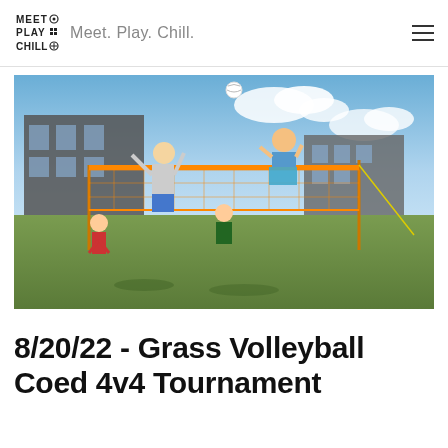Meet. Play. Chill.
[Figure (photo): People playing grass volleyball outdoors with an orange net on a green field, buildings in background, sunny day with blue sky.]
8/20/22 - Grass Volleyball Coed 4v4 Tournament